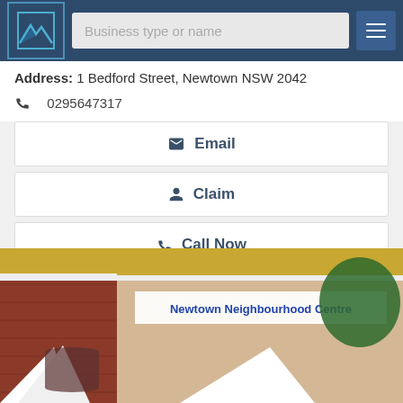[Figure (screenshot): App header bar with logo, search field 'Business type or name', and hamburger menu button]
Address: 1 Bedford Street, Newtown NSW 2042
0295647317
Email
Claim
Call Now
View Details
[Figure (photo): Photo of Newtown Neighbourhood Centre building — brick facade with yellow ornate trim and white columns, sign reading 'Newtown Neighbourhood Centre', white market umbrellas in foreground]